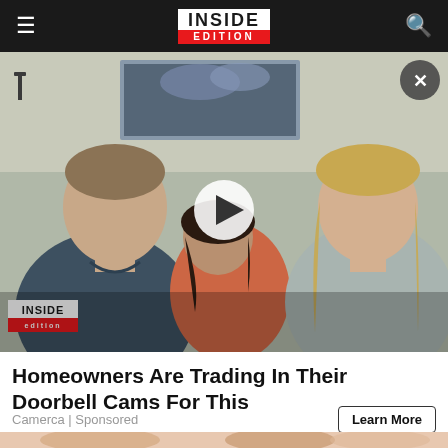INSIDE EDITION
[Figure (screenshot): Video thumbnail showing three people sitting on a couch — a man on the left in a dark t-shirt, a young girl in the middle leaning on the man, and a woman on the right with long hair. A play button is centered on the image. An Inside Edition watermark is in the bottom-left corner. A close (X) button is in the top-right corner.]
Homeowners Are Trading In Their Doorbell Cams For This
Camerca | Sponsored
[Figure (photo): Partial image at the bottom of the page showing what appears to be a close-up of fingers or a hand.]